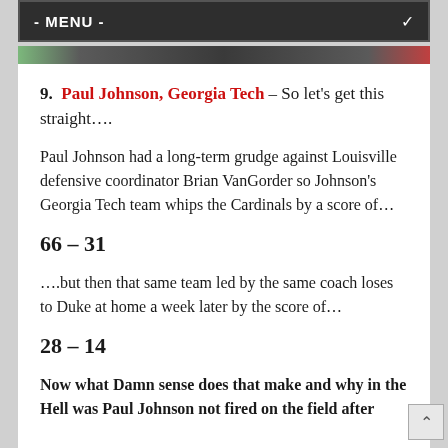- MENU -
[Figure (photo): Partial image strip visible below menu bar]
9.  Paul Johnson, Georgia Tech – So let's get this straight….
Paul Johnson had a long-term grudge against Louisville defensive coordinator Brian VanGorder so Johnson's Georgia Tech team whips the Cardinals by a score of…
66 – 31
….but then that same team led by the same coach loses to Duke at home a week later by the score of…
28 – 14
Now what Damn sense does that make and why in the Hell was Paul Johnson not fired on the field after